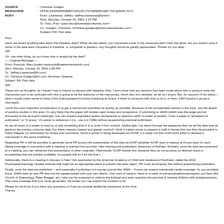| Field | Sep | Value |
| --- | --- | --- |
| SOURCE | : | Christina Goetjen |
| MESSAGEID | : | 2F54C33304069438BFCD512FC7DCB3EB010BC7DC@MAIL-NYC |
| BODY | : | From: Lawrence, Jeffrey <jeffrey.lawrence@forest>
Sent: Monday, October 15, 2001 1:15 PM
To: Tseo, Paul <paul.tseo@forestlaboratories.com>
Cc: Goetjen, Christina <christine.goetjen@forest-laboratories.com>
Subject: FW: Ped data |
Paul,
Have you heard anything else about the Pediatric data? When we last talked, you mentioned some of the measures didn't look that great, but you weren't sure if some of the data were compared to baseline, or compared to placebo. Any thoughts would be greatly appreciated. Thanks for you help!
Jeff
Oh, one other thing, do you know who is analyzing the data?
----Original Message----
From: Prescott, Mary [mailto:mprescott@webershandwick.com]
Sent: Monday, October 15, 2001 1:58 PM
To: 'Jeffrey.Lawrence@frs.com'
Cc: Christina.Goetjen@frs.com; Mortimer, Natasha
Subject: RE: Ped data
Jeff,
These are my thoughts, as I haven't had a chance to discuss with Natasha. Also, I don't know that any decision has been made about who is going to write the manuscript (not to be confused with who is going to be the author(s) of the manuscript, which also isn't decided, as far as I know). But, for reasons I'll list below, I think it would make sense to have a first draft prepared in-house (meaning at Forest, if there is someone with time to do it, or here, if Bill Hoydon's group is swamped).
I think the most important consideration is to get a manuscript submitted as quickly as possible. Because of the considerable interest in the topic, and the dearth of positive studies in this area, it's very likely that the paper will receive rapid review and acceptance. If submitting to JAMA (which was the target journal discussed at the ad board meetings), one can request expedited review (acceptance or rejection within a matter of weeks). Once a paper is "accepted for publication" or "in press," it's easier to reference it (i.e., use it in CME) without jeopardizing eventual publication.
As we all know, it is easier to react to or edit something than it is to write it from scratch. Additionally, I've heard through the grapevine that not all the data look as great as the primary outcome data. For these reasons (speed and greater control) I think it makes sense to prepare a draft in-house that can then be provided to Karen Wagner (or whomever) for review and comments. Since a poster is being developed for ACNP, it is really not that much extra effort to develop a manuscript in the same timeframe.
Regarding PR, it will be possible to generate some PR around the presentation of the data at ACNP (whether ACNP does a release or Forest does its own). Media coverage in connection with a meeting is exempt from journals' rules banning pre-publication disclosure of findings. Similarly, once the data are presented at a meeting, you can reference that presentation in other materials. (Technically, ACNP forbids this, because they do not produce an abstract book or proceedings that are publicly available, but people still do it all the time.)
Additionally, there is a meeting in January in New York sponsored by the American Academy of Child and Adolescent Psychiatry called the 2002 Psychopharmacology Update Institute that might be an appropriate place to present the data. Again, PR could accompany this without jeopardizing publication.
Finally, once the data are published -- and especially if published in a top-tier journal like JAMA -- Forest can expect substantial media coverage. As you probably know, JAMA does its own PR that can be supplemented with your own efforts. One word of caution: there is a cadre of anti-psychopharmacologists out there (the Church of Scientology, Peter Breggin, etc.) who can be expected to criticize the findings and even question the premise of treating children with antidepressants. The more coverage that your study generates, the louder you can expect the protests to be.
Please let me know if you have any questions or if we can provide additional assistance at this time.
Thanks,